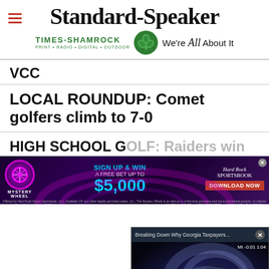Standard-Speaker
[Figure (logo): Times-Shamrock logo with shamrock graphic and tagline: PRINT · RADIO · DIGITAL · OUTDOOR. We're All About It]
VCC
LOCAL ROUNDUP: Comet golfers climb to 7-0
HIGH SCHOOL [truncated] first match
H.S. GOLF: Lad[truncated]
[Figure (screenshot): Video overlay popup: Breaking Down Why Georgia Taxpayers... with ultrasound-style image and mute button. Counter: MI -0.01 1:04]
[Figure (screenshot): Hard Rock Sportsbook advertisement: MYSTERY WHEEL SIGN UP & WIN A FREE BET UP TO $5,000 DOWNLOAD NOW]